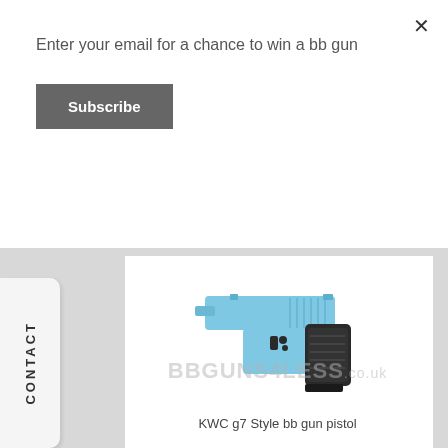Enter your email for a chance to win a bb gun
Subscribe
OUT OF STOCK
CONTACT
[Figure (photo): Light blue KWC g7 style bb gun pistol with black grip on white background, with BBGUNS4LESS.co.uk watermark]
KWC g7 Style bb gun pistol